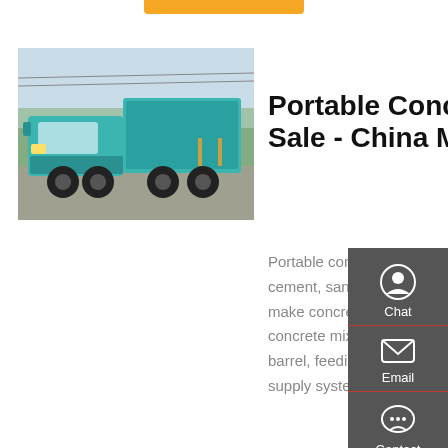[Figure (photo): Teal/green heavy dump truck (concrete mixer truck) photographed outdoors with trees and construction site in background]
Portable Concrete Mixers For Sale - China Manufacturer
Portable concrete mixer is the machine that mixes cement, sand, gravel aggregate and water mixture to make concrete mixtures. Generally speaking, portable concrete mixer machine is composed by mixing barrel, feeding and discharging mechanism, water supply system, the driving motivation,